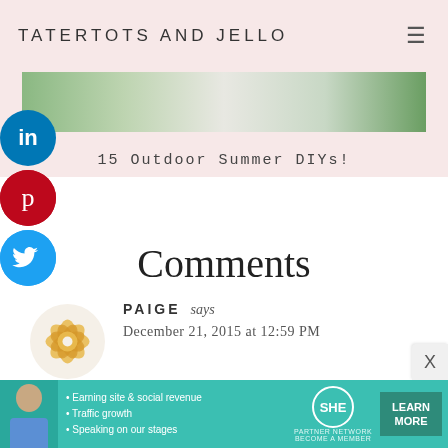TATERTOTS AND JELLO
[Figure (photo): Banner image of outdoor summer DIYs]
15 Outdoor Summer DIYs!
[Figure (infographic): Social sharing icons: LinkedIn, Pinterest, Twitter]
Comments
PAIGE says
December 21, 2015 at 12:59 PM
These truffles are super cute and look delicious!
[Figure (infographic): SHE Partner Network advertisement banner: Earning site & social revenue, Traffic growth, Speaking on our stages. LEARN MORE button.]